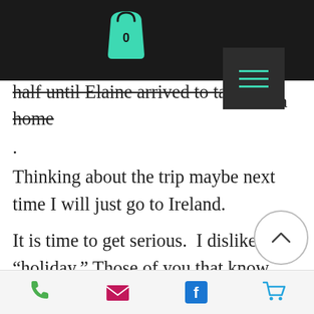[Figure (screenshot): Website navigation bar with dark background, teal shopping bag icon with 0, and hamburger menu button]
ore
a half
a
nd a
half until Elaine arrived to take me home
.
Thinking about the trip maybe next time I will just go to Ireland.
It is time to get serious.  I dislike this “holiday.” Those of you that know Elaine and me, might know that we lost our son on Memorial Day weekend 2005.  Alex was not a war hero or a kind of hero.  He was just our son.  We will remember him every Memorial Day.
[Figure (other): Bottom mobile toolbar with phone, email, Facebook, and shopping cart icons]